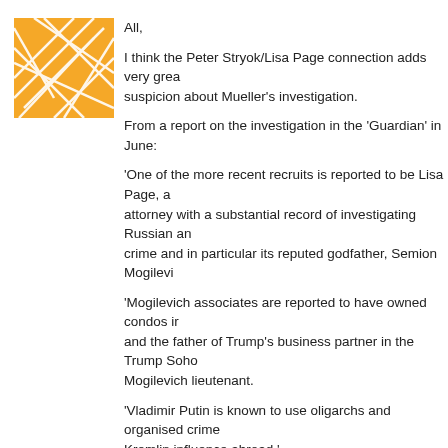[Figure (logo): Orange geometric logo with white overlapping lines/lattice pattern on orange square background]
All,
I think the Peter Stryok/Lisa Page connection adds very great suspicion about Mueller's investigation.
From a report on the investigation in the 'Guardian' in June:
'One of the more recent recruits is reported to be Lisa Page, a attorney with a substantial record of investigating Russian an crime and in particular its reputed godfather, Semion Mogilevi
'Mogilevich associates are reported to have owned condos i and the father of Trump's business partner in the Trump Soho Mogilevich lieutenant.
'Vladimir Putin is known to use oligarchs and organised crime Kremlin influence abroad.'
(See https://www.theguardian.com/us-news/2017/jun/15/robe investigation-team-members .)
From an excerpt from Luke Harding's 'Collusion' book publish MNSBC, explaining how Christopher Steele met up with Glen apparently as early as 2009: